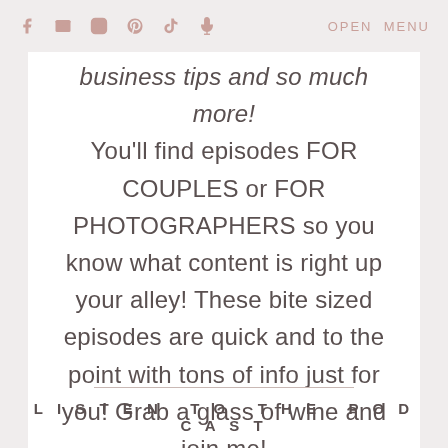f  [mail] [instagram] [pinterest] [tiktok] [mic]   OPEN MENU
business tips and so much more! You'll find episodes FOR COUPLES or FOR PHOTOGRAPHERS so you know what content is right up your alley! These bite sized episodes are quick and to the point with tons of info just for you! Grab a glass of wine and join me!
LISTEN TO THE PODCAST